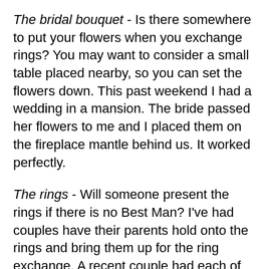The bridal bouquet - Is there somewhere to put your flowers when you exchange rings? You may want to consider a small table placed nearby, so you can set the flowers down. This past weekend I had a wedding in a mansion. The bride passed her flowers to me and I placed them on the fireplace mantle behind us. It worked perfectly.
The rings - Will someone present the rings if there is no Best Man? I've had couples have their parents hold onto the rings and bring them up for the ring exchange. A recent couple had each of their nephews bring up a ring. Another possibility is to use a table (also used for the flowers) and have the rings there at the beginning of the ceremony.